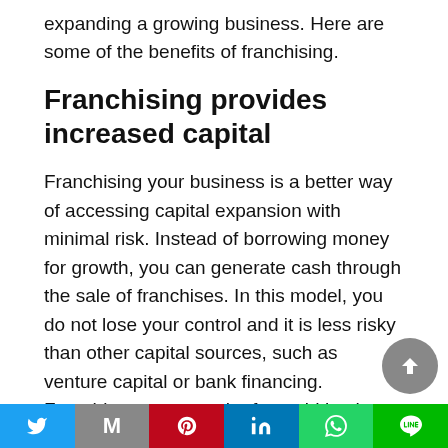expanding a growing business. Here are some of the benefits of franchising.
Franchising provides increased capital
Franchising your business is a better way of accessing capital expansion with minimal risk. Instead of borrowing money for growth, you can generate cash through the sale of franchises. In this model, you do not lose your control and it is less risky than other capital sources, such as venture capital or bank financing. Franchisors can use the fee paid by the franchisee to develop and